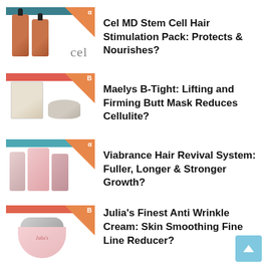[Figure (photo): Cel MD hair product bottles with teal top bar and orange triangle corner]
Cel MD Stem Cell Hair Stimulation Pack: Protects & Nourishes?
[Figure (photo): Maelys B-Tight box and cream jar with salmon top bar and orange triangle corner]
Maelys B-Tight: Lifting and Firming Butt Mask Reduces Cellulite?
[Figure (photo): Viabrance hair revival system bottles with teal top bar and orange triangle corner]
Viabrance Hair Revival System: Fuller, Longer & Stronger Growth?
[Figure (photo): Julia's Finest anti wrinkle cream jar with salmon top bar and orange triangle corner]
Julia’s Finest Anti Wrinkle Cream: Skin Smoothing Fine Line Reducer?